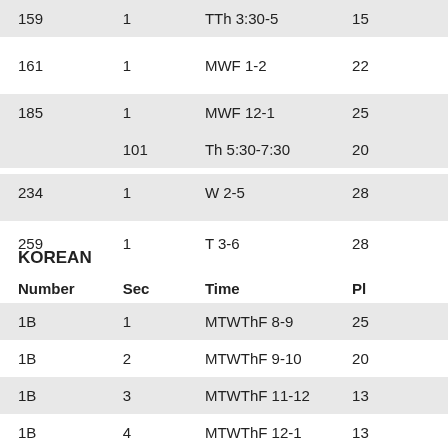| Number | Sec | Time | Pl |
| --- | --- | --- | --- |
| 159 | 1 | TTh 3:30-5 | 15 |
| 161 | 1 | MWF 1-2 | 22 |
| 185 | 1 | MWF 12-1 | 25 |
|  | 101 | Th 5:30-7:30 | 20 |
| 234 | 1 | W 2-5 | 28 |
| 259 | 1 | T 3-6 | 28 |
KOREAN
| Number | Sec | Time | Pl |
| --- | --- | --- | --- |
| 1B | 1 | MTWThF 8-9 | 25 |
| 1B | 2 | MTWThF 9-10 | 20 |
| 1B | 3 | MTWThF 11-12 | 13 |
| 1B | 4 | MTWThF 12-1 | 13 |